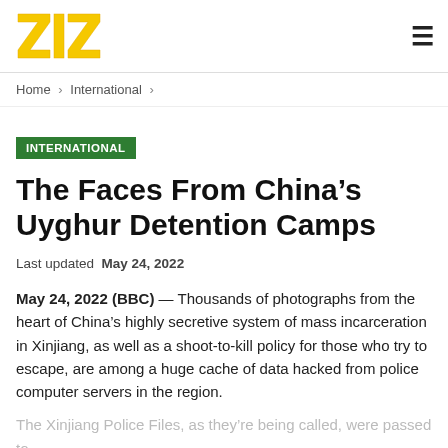ZIZ logo and hamburger menu
Home > International >
INTERNATIONAL
The Faces From China’s Uyghur Detention Camps
Last updated May 24, 2022
May 24, 2022 (BBC) — Thousands of photographs from the heart of China’s highly secretive system of mass incarceration in Xinjiang, as well as a shoot-to-kill policy for those who try to escape, are among a huge cache of data hacked from police computer servers in the region.
The Xinjiang Police Files, as they’re being called, were passed to